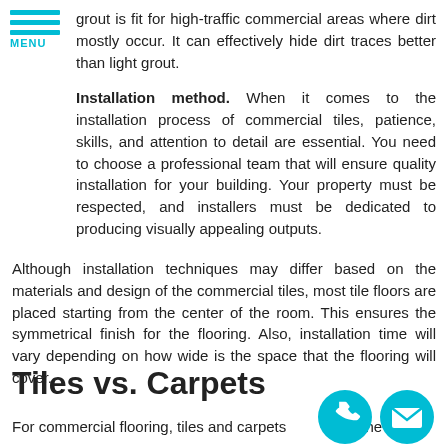[Figure (other): Hamburger menu icon with three teal horizontal lines and MENU label in teal]
grout is fit for high-traffic commercial areas where dirt mostly occur. It can effectively hide dirt traces better than light grout.
Installation method. When it comes to the installation process of commercial tiles, patience, skills, and attention to detail are essential. You need to choose a professional team that will ensure quality installation for your building. Your property must be respected, and installers must be dedicated to producing visually appealing outputs.
Although installation techniques may differ based on the materials and design of the commercial tiles, most tile floors are placed starting from the center of the room. This ensures the symmetrical finish for the flooring. Also, installation time will vary depending on how wide is the space that the flooring will cover.
Tiles vs. Carpets
For commercial flooring, tiles and carpets are the two